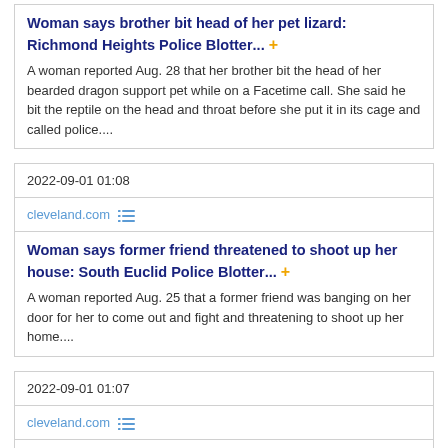Woman says brother bit head of her pet lizard: Richmond Heights Police Blotter...
A woman reported Aug. 28 that her brother bit the head of her bearded dragon support pet while on a Facetime call. She said he bit the reptile on the head and throat before she put it in its cage and called police....
2022-09-01 01:08
cleveland.com
Woman says former friend threatened to shoot up her house: South Euclid Police Blotter...
A woman reported Aug. 25 that a former friend was banging on her door for her to come out and fight and threatening to shoot up her home....
2022-09-01 01:07
cleveland.com
Man asked for money to keep from being exposed: Mayfield Police Blotter...
A man said Aug. 26 that he was being extorted after befriending a